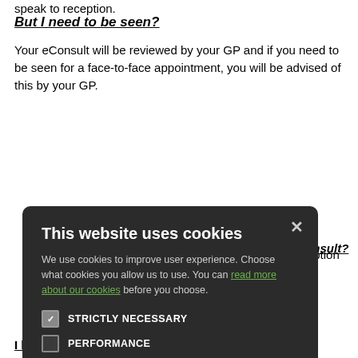speak to reception.
But I need to be seen?
Your eConsult will be reviewed by your GP and if you need to be seen for a face-to-face appointment, you will be advised of this by your GP.
[Figure (screenshot): Cookie consent modal dialog on dark background with title 'This website uses cookies', body text about cookie usage, a link 'read more about our cookies', checkboxes for STRICTLY NECESSARY (checked), PERFORMANCE, TARGETING, FUNCTIONALITY, and two buttons: ACCEPT ALL (green) and DECLINE ALL (outline).]
I have an administrative request.